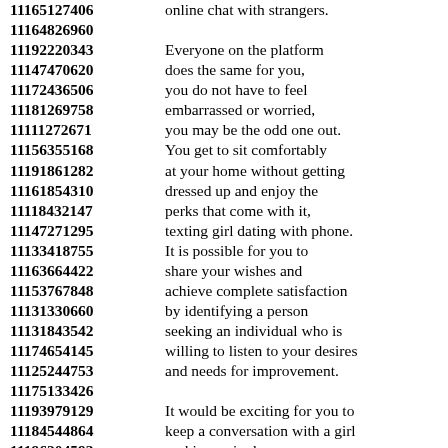11165127406 online chat with strangers. 11164826960 11192220343 Everyone on the platform 11147470620 does the same for you, 11172436506 you do not have to feel 11181269758 embarrassed or worried, 11111272671 you may be the odd one out. 11156355168 You get to sit comfortably 11191861282 at your home without getting 11161854310 dressed up and enjoy the 11118432147 perks that come with it, 11147271295 texting girl dating with phone. 11133418755 It is possible for you to 11163664422 share your wishes and 11153767848 achieve complete satisfaction 11131330660 by identifying a person 11131843542 seeking an individual who is 11174654145 willing to listen to your desires 11125244753 and needs for improvement. 11175133426 11193979129 It would be exciting for you to 11184544864 keep a conversation with a girl 11196204593 seeking a single man 11116761638 that will help you achieve 11177171339 the satisfaction through